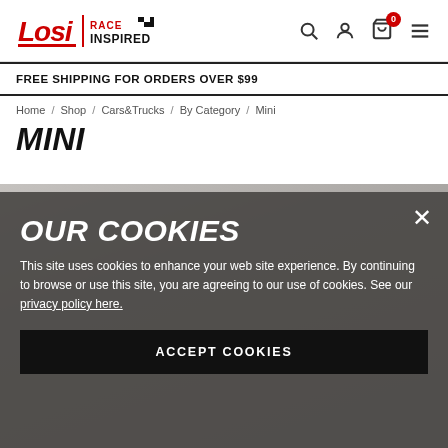Losi Race Inspired — Navigation header with logo, search, account, cart (0), and menu icons
FREE SHIPPING FOR ORDERS OVER $99
Home / Shop / Cars&Trucks / By Category / Mini
MINI
[Figure (screenshot): Gray background area showing a blurred outdoor track scene behind a cookie consent modal overlay]
OUR COOKIES
This site uses cookies to enhance your web site experience. By continuing to browse or use this site, you are agreeing to our use of cookies. See our privacy policy here.
ACCEPT COOKIES